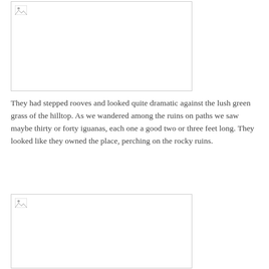[Figure (photo): Placeholder image box (broken image icon visible in top-left corner), representing a photo of stepped-roof ruins on a hilltop.]
They had stepped rooves and looked quite dramatic against the lush green grass of the hilltop. As we wandered among the ruins on paths we saw maybe thirty or forty iguanas, each one a good two or three feet long. They looked like they owned the place, perching on the rocky ruins.
[Figure (photo): Placeholder image box (broken image icon visible in top-left corner), representing a second photo related to the ruins or iguanas.]